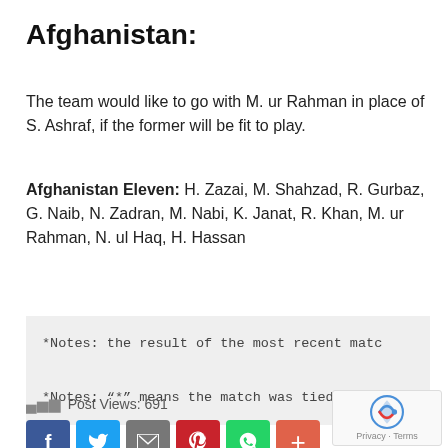Afghanistan:
The team would like to go with M. ur Rahman in place of S. Ashraf, if the former will be fit to play.
Afghanistan Eleven: H. Zazai, M. Shahzad, R. Gurbaz, G. Naib, N. Zadran, M. Nabi, K. Janat, R. Khan, M. ur Rahman, N. ul Haq, H. Hassan
*Notes: the result of the most recent matc
*Notes: "*" means the match was tied but t
Post Views: 691